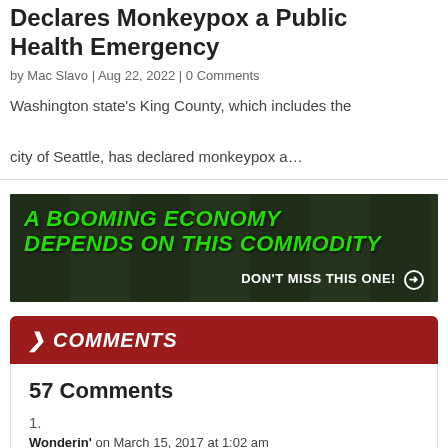Declares Monkeypox a Public Health Emergency
by Mac Slavo | Aug 22, 2022 | 0 Comments
Washington state's King County, which includes the city of Seattle, has declared monkeypox a...
[Figure (infographic): Advertisement banner with green bold italic text reading 'A BOOMING ECONOMY DEPENDS ON THIS COMMODITY' and white text 'DON'T MISS THIS ONE!' with arrow icon, over dark aerial farmland background]
COMMENTS
57 Comments
1.
Wonderin' on March 15, 2017 at 1:02 am